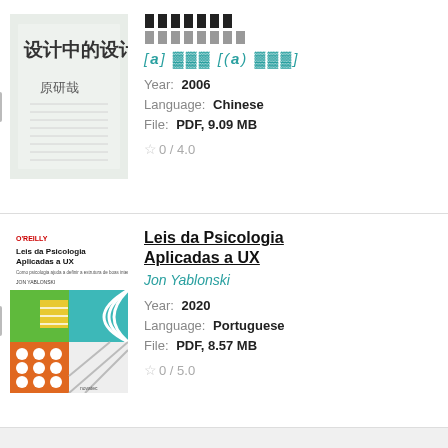[Figure (illustration): Book cover for Chinese design book '设计中的设计' by 原研哉, light green/white cover with Chinese text]
[corrupted title text] [corrupted subtitle] [corrupted author link] Year: 2006 Language: Chinese File: PDF, 9.09 MB Rating: 0 / 4.0
[Figure (illustration): Book cover for 'Leis da Psicologia Aplicadas a UX' by Jon Yablonski, O'Reilly publisher, colorful geometric design with teal, green, yellow, orange squares and circles]
Leis da Psicologia Aplicadas a UX — Jon Yablonski Year: 2020 Language: Portuguese File: PDF, 8.57 MB Rating: 0 / 5.0